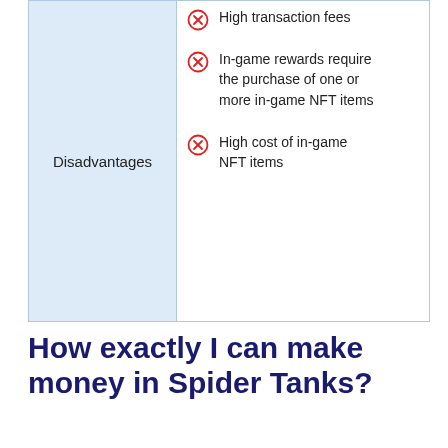|  |  |
| --- | --- |
| Disadvantages | High transaction fees
In-game rewards require the purchase of one or more in-game NFT items
High cost of in-game NFT items |
How exactly I can make money in Spider Tanks?